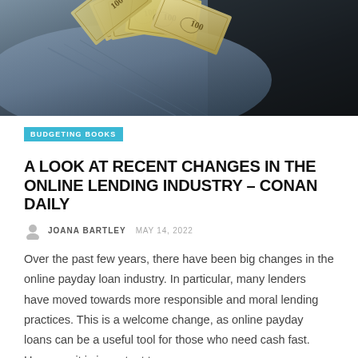[Figure (photo): Hero image showing fanned out US $100 bills against a dark denim and dark background]
BUDGETING BOOKS
A LOOK AT RECENT CHANGES IN THE ONLINE LENDING INDUSTRY – CONAN DAILY
JOANA BARTLEY  MAY 14, 2022
Over the past few years, there have been big changes in the online payday loan industry. In particular, many lenders have moved towards more responsible and moral lending practices. This is a welcome change, as online payday loans can be a useful tool for those who need cash fast. However, it is important to ensure ...
Read More